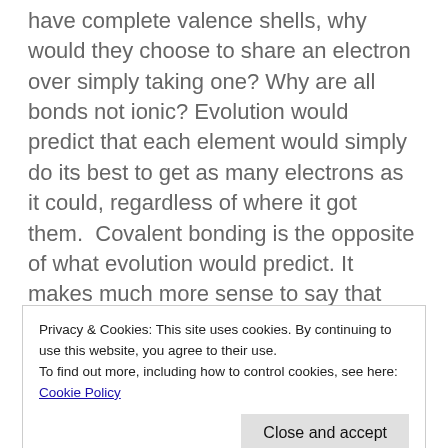have complete valence shells, why would they choose to share an electron over simply taking one? Why are all bonds not ionic? Evolution would predict that each element would simply do its best to get as many electrons as it could, regardless of where it got them.  Covalent bonding is the opposite of what evolution would predict. It makes much more sense to say that God designed chemicals to have incomplete valence shells so that they would be able to share electrons and undergo covalent bonds, enabling gases and liquids to exist.
Privacy & Cookies: This site uses cookies. By continuing to use this website, you agree to their use. To find out more, including how to control cookies, see here: Cookie Policy
Close and accept
... to what you can think where you will read details of covalent connections and ...